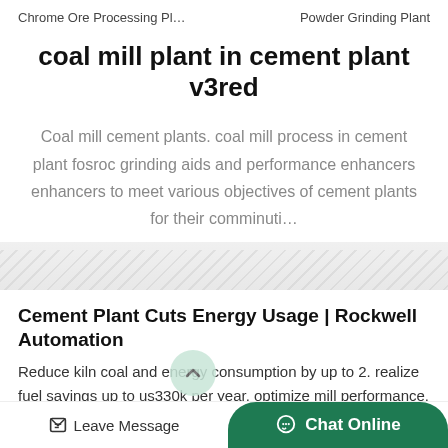Chrome Ore Processing Pl…    Powder Grinding Plant
coal mill plant in cement plant v3red
Coal mill cement plants. coal mill process in cement plant fosroc grinding aids and performance enhancers enhancers to meet various objectives of cement plants for their comminuti…
Cement Plant Cuts Energy Usage | Rockwell Automation
Reduce kiln coal and energy consumption by up to 2. realize fuel savings up to us330k per year. optimize mill performance. lower co2 and nox emissions. ease operator workload. cement is one of…
Leave Message   Chat Online